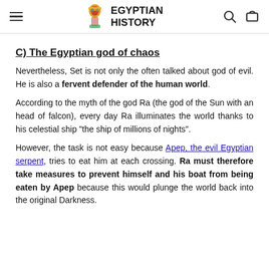EGYPTIAN HISTORY
C) The Egyptian god of chaos
Nevertheless, Set is not only the often talked about god of evil. He is also a fervent defender of the human world.
According to the myth of the god Ra (the god of the Sun with an head of falcon), every day Ra illuminates the world thanks to his celestial ship "the ship of millions of nights".
However, the task is not easy because Apep, the evil Egyptian serpent, tries to eat him at each crossing. Ra must therefore take measures to prevent himself and his boat from being eaten by Apep because this would plunge the world back into the original Darkness.